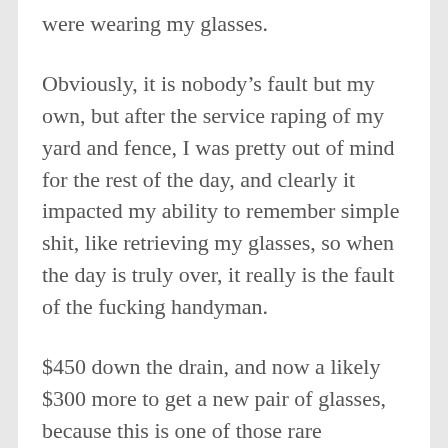were wearing my glasses.
Obviously, it is nobody’s fault but my own, but after the service raping of my yard and fence, I was pretty out of mind for the rest of the day, and clearly it impacted my ability to remember simple shit, like retrieving my glasses, so when the day is truly over, it really is the fault of the fucking handyman.
$450 down the drain, and now a likely $300 more to get a new pair of glasses, because this is one of those rare instances where my Asian-ness kicks in, and I liked having a pair of expensive designer frames.  Fuck this guy